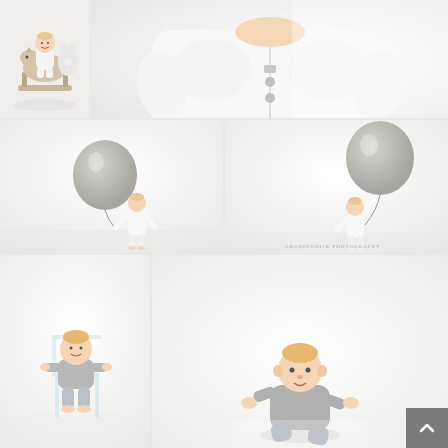[Figure (photo): Baby in white hoodie, close-up torso shot on white background; small thumbnail of baby on rocking horse with stuffed animal on the left side]
[Figure (photo): Toddler in white bodysuit standing next to a large silver/grey balloon on white background]
[Figure (photo): Toddler in white bodysuit holding a large silver/grey balloon on white background]
[Figure (photo): Baby in grey outfit sitting on a clear acrylic chair on white background]
[Figure (photo): Baby in grey outfit sitting/crawling on white background, looking at camera]